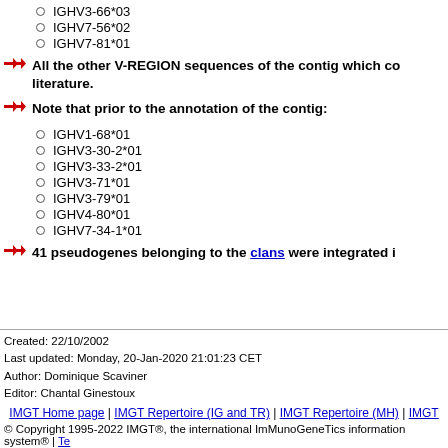IGHV3-66*03
IGHV7-56*02
IGHV7-81*01
All the other V-REGION sequences of the contig which co... literature.
Note that prior to the annotation of the contig:
IGHV1-68*01
IGHV3-30-2*01
IGHV3-33-2*01
IGHV3-71*01
IGHV3-79*01
IGHV4-80*01
IGHV7-34-1*01
41 pseudogenes belonging to the clans were integrated i...
Created: 22/10/2002
Last updated: Monday, 20-Jan-2020 21:01:23 CET
Author: Dominique Scaviner
Editor: Chantal Ginestoux
IMGT Home page | IMGT Repertoire (IG and TR) | IMGT Repertoire (MH) | IMGT
© Copyright 1995-2022 IMGT®, the international ImMunoGeneTics information system® | Te...